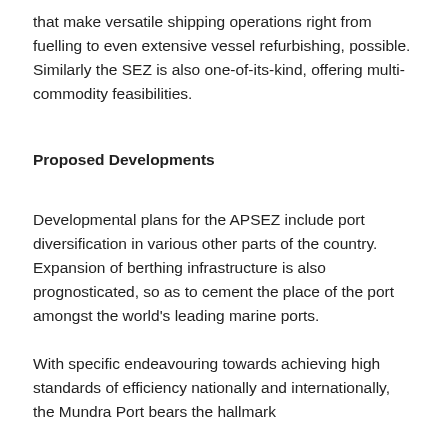that make versatile shipping operations right from fuelling to even extensive vessel refurbishing, possible. Similarly the SEZ is also one-of-its-kind, offering multi-commodity feasibilities.
Proposed Developments
Developmental plans for the APSEZ include port diversification in various other parts of the country. Expansion of berthing infrastructure is also prognosticated, so as to cement the place of the port amongst the world's leading marine ports.
With specific endeavouring towards achieving high standards of efficiency nationally and internationally, the Mundra Port bears the hallmark